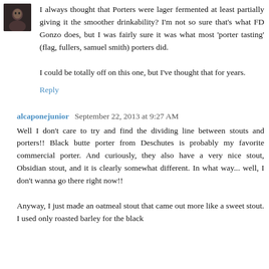I always thought that Porters were lager fermented at least partially giving it the smoother drinkability? I'm not so sure that's what FD Gonzo does, but I was fairly sure it was what most 'porter tasting' (flag, fullers, samuel smith) porters did.

I could be totally off on this one, but I've thought that for years.
Reply
alcaponejunior  September 22, 2013 at 9:27 AM
Well I don't care to try and find the dividing line between stouts and porters!! Black butte porter from Deschutes is probably my favorite commercial porter. And curiously, they also have a very nice stout, Obsidian stout, and it is clearly somewhat different. In what way... well, I don't wanna go there right now!!

Anyway, I just made an oatmeal stout that came out more like a sweet stout. I used only roasted barley for the black